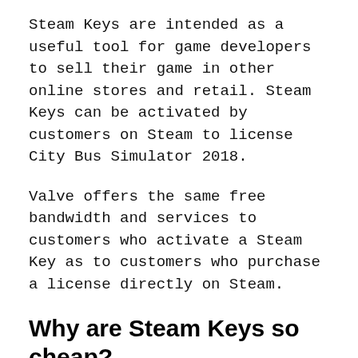Steam Keys are intended as a useful tool for game developers to sell their game in other online stores and retail. Steam Keys can be activated by customers on Steam to license City Bus Simulator 2018.
Valve offers the same free bandwidth and services to customers who activate a Steam Key as to customers who purchase a license directly on Steam.
Why are Steam Keys so cheap?
Many sellers are wholesalers who buy game keys in bulk directly from the developers and publishers. Because they buy a large number of products at once, they buy them at much lower prices. This in